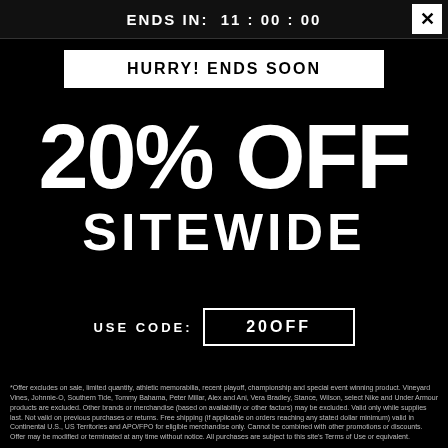ENDS IN: 11:00:00
HURRY! ENDS SOON
20% OFF SITEWIDE
USE CODE: 20OFF
*Offer excludes on sale, limited quantity, athletic memorabilia, recent playoff, championship and special event winning product. Vineyard Vines, Johnnie-O, Southern Tide, Tommy Bahama, Peter Millar, Alex and Ani, Vera Bradley, Stance, Wilson, select Nike and Under Armour products are excluded. Other brands or merchandise (based on availability or other factors) may be excluded. Valid only while supplies last. Not valid on previous purchases or returns. Free shipping (if applicable on orders reaching any stated dollar minimum) valid in Continental U.S., US Territories and APO/FPO for eligible merchandise only. Cannot be combined with other promotions or discounts. Offer may be modified or terminated at any time without notice. All purchases are subject to this site's Terms of Use or equivalent.